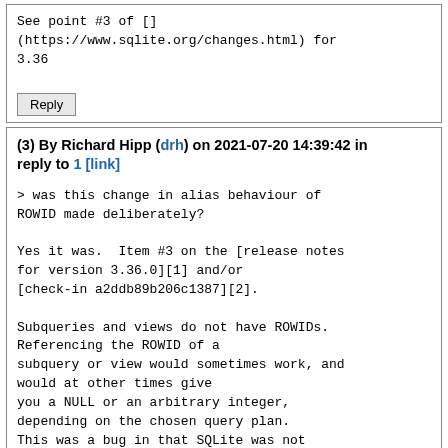See point #3 of []
(https://www.sqlite.org/changes.html) for
3.36
Reply
(3) By Richard Hipp (drh) on 2021-07-20 14:39:42 in reply to 1 [link]
> was this change in alias behaviour of
ROWID made deliberately?

Yes it was.  Item #3 on the [release notes
for version 3.36.0][1] and/or
[check-in a2ddb89b206c1387][2].

Subqueries and views do not have ROWIDs.
Referencing the ROWID of a
subquery or view would sometimes work, and
would at other times give
you a NULL or an arbitrary integer,
depending on the chosen query plan.
This was a bug in that SQLite was not
raising an error when it should
have.  The change to disallow ROWIDs for